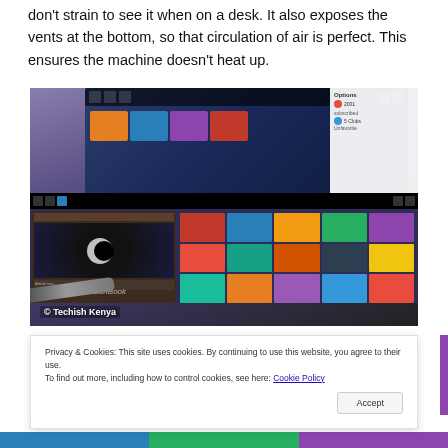don't strain to see it when on a desk. It also exposes the vents at the bottom, so that circulation of air is perfect. This ensures the machine doesn't heat up.
[Figure (photo): Photo of an ASUS ZenBook laptop showing dual screens with Windows 10 interface. A stylus/pen is visible in the bottom left. Watermark reads '© Techish Kenya'.]
Privacy & Cookies: This site uses cookies. By continuing to use this website, you agree to their use.
To find out more, including how to control cookies, see here: Cookie Policy
Accept